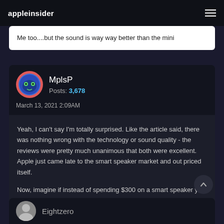appleinsider
Me too....but the sound is way way better than the mini
MplsP
Posts: 3,678
March 13, 2021 2:09AM
Yeah, I can't say I'm totally surprised. Like the article said, there was nothing wrong with the technology or sound quality - the reviews were pretty much unanimous that both were excellent. Apple just came late to the smart speaker market and out priced itself.

Now, imagine if instead of spending $300 on a smart speaker you just spent $70,000 on a car...
Eightzero